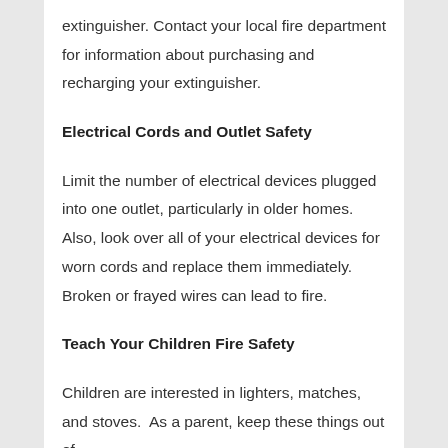extinguisher. Contact your local fire department for information about purchasing and recharging your extinguisher.
Electrical Cords and Outlet Safety
Limit the number of electrical devices plugged into one outlet, particularly in older homes.  Also, look over all of your electrical devices for worn cords and replace them immediately. Broken or frayed wires can lead to fire.
Teach Your Children Fire Safety
Children are interested in lighters, matches, and stoves.  As a parent, keep these things out of